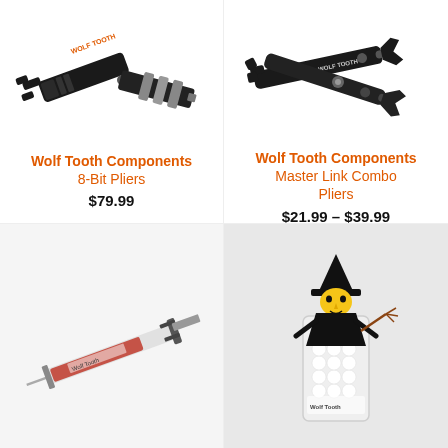[Figure (photo): Wolf Tooth Components 8-Bit Pliers multi-tool - black metal pliers with hex bit holder, shown open with bits visible]
Wolf Tooth Components
8-Bit Pliers
$79.99
[Figure (photo): Wolf Tooth Components Master Link Combo Pliers - black angled pliers tool shown open, with Wolf Tooth logo visible]
Wolf Tooth Components
Master Link Combo Pliers
$21.99 – $39.99
[Figure (photo): A syringe/injector with red fluid inside, lying diagonally on a white/light grey background]
[Figure (photo): A clear cylindrical container filled with small white balls, topped with a black witch/halloween figurine decoration]